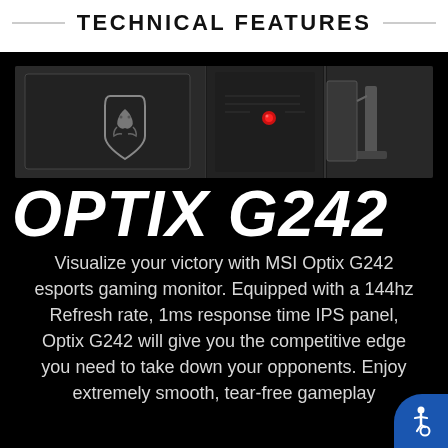TECHNICAL FEATURES
[Figure (photo): Three-panel product photo of the MSI Optix G242 monitor showing front logo, back with red LED indicator, and side/stand views against black background]
OPTIX G242
Visualize your victory with MSI Optix G242 esports gaming monitor. Equipped with a 144hz Refresh rate, 1ms response time IPS panel, Optix G242 will give you the competitive edge you need to take down your opponents. Enjoy extremely smooth, tear-free gameplay